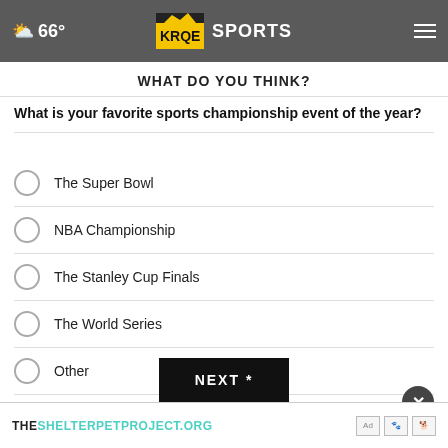☁ 66° KRQE SPORTS
WHAT DO YOU THINK?
What is your favorite sports championship event of the year?
The Super Bowl
NBA Championship
The Stanley Cup Finals
The World Series
Other
No opinion / Does not apply
NEXT *
* By clicking "NEXT" you agree to the following: We use cookies to track your preferences and to provide you with more relevant content. To read more about our privacy policy, please visit our terms.
[Figure (other): Advertisement banner for THESHELTERPETPROJECT.ORG with ad choice icons]